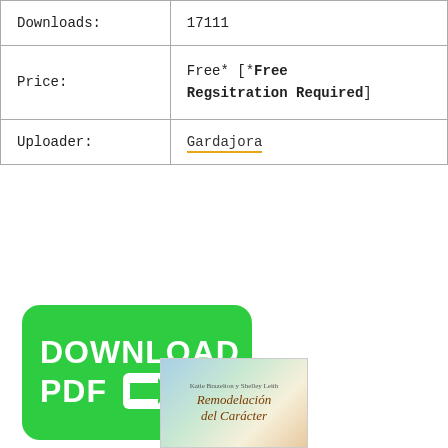| Downloads: | 17111 |
| Price: | Free* [*Free Regsitration Required] |
| Uploader: | Gardajora |
[Figure (screenshot): Green download button with white bold text reading DOWNLOAD PDF and an arrow icon pointing right]
[Figure (photo): Book cover for Remodelación del Carácter by Katie Brazelton y Shelley Leith]